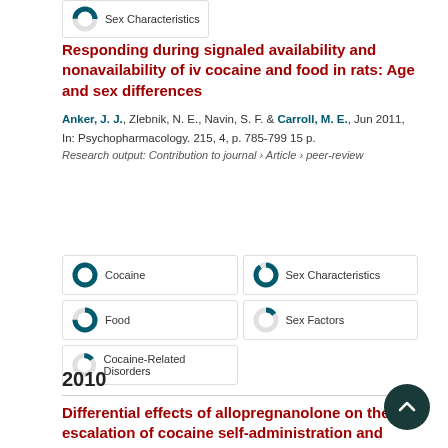[Figure (other): Partial donut/pie chart badge showing 'Sex Characteristics' topic tag at top of page]
Responding during signaled availability and nonavailability of iv cocaine and food in rats: Age and sex differences
Anker, J. J., Zlebnik, N. E., Navin, S. F. & Carroll, M. E., Jun 2011, In: Psychopharmacology. 215, 4, p. 785-799 15 p.
Research output: Contribution to journal › Article › peer-review
[Figure (other): 100% filled donut chart badge for 'Cocaine' topic]
[Figure (other): 90% filled donut chart badge for 'Sex Characteristics' topic]
[Figure (other): 75% filled donut chart badge for 'Food' topic]
[Figure (other): 15% filled donut chart badge for 'Sex Factors' topic]
[Figure (other): 15% filled donut chart badge for 'Cocaine-Related Disorders' topic]
2010
Differential effects of allopregnanolone on the escalation of cocaine self-administration and sucrose intake in rats